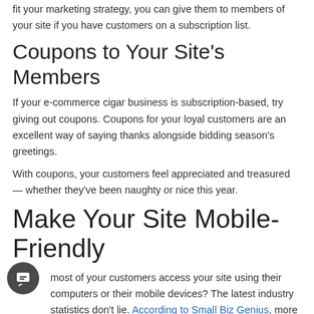fit your marketing strategy, you can give them to members of your site if you have customers on a subscription list.
Coupons to Your Site's Members
If your e-commerce cigar business is subscription-based, try giving out coupons. Coupons for your loyal customers are an excellent way of saying thanks alongside bidding season's greetings.
With coupons, your customers feel appreciated and treasured — whether they've been naughty or nice this year.
Make Your Site Mobile-Friendly
Do most of your customers access your site using their computers or their mobile devices? The latest industry statistics don't lie. According to Small Biz Genius, more